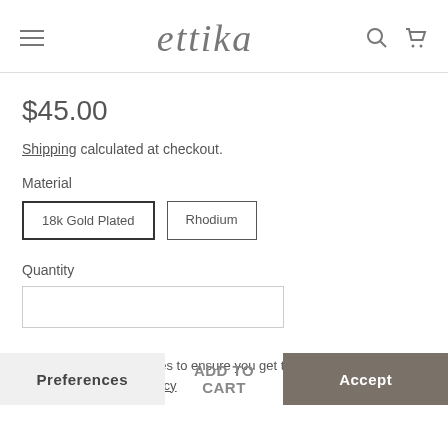ettika
$45.00
Shipping calculated at checkout.
Material
18k Gold Plated   Rhodium
Quantity
This website uses cookies to ensure you get the best experience on our website. Privacy Policy
Preferences   ADD TO CART   Accept